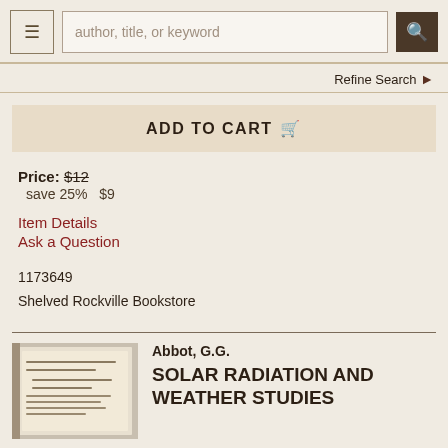author, title, or keyword [search bar] [menu] [search button]
Refine Search
ADD TO CART
Price: $12
save 25%   $9
Item Details
Ask a Question
1173649
Shelved Rockville Bookstore
Abbot, G.G.
SOLAR RADIATION AND WEATHER STUDIES
[Figure (photo): Book cover photo of 'Solar Radiation and Weather Studies' by Abbot, G.G., showing a worn pamphlet or booklet cover]